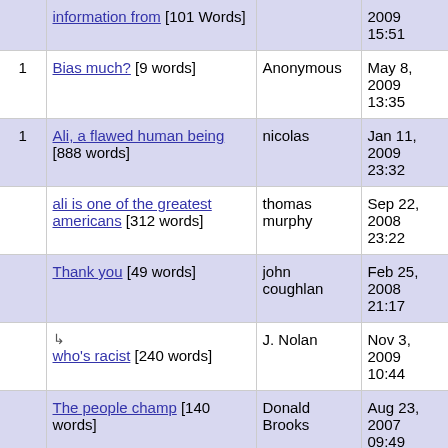| # | Title | Author | Date |
| --- | --- | --- | --- |
|  | information from [101 Words] |  | 2009 15:51 |
| 1 | Bias much? [9 words] | Anonymous | May 8, 2009 13:35 |
| 1 | Ali, a flawed human being [888 words] | nicolas | Jan 11, 2009 23:32 |
|  | ali is one of the greatest americans [312 words] | thomas murphy | Sep 22, 2008 23:22 |
|  | Thank you [49 words] | john coughlan | Feb 25, 2008 21:17 |
|  | ↳ who's racist [240 words] | J. Nolan | Nov 3, 2009 10:44 |
|  | The people champ [140 words] | Donald Brooks | Aug 23, 2007 09:49 |
|  | The Greatest...The G Manifesto [9 words] | The G Manifesto | Jul 22, 2007 01:35 |
| 3 | Why would any African American convert to islam ? [11 words] | Phil Greend | Jun 9, 2007 14:22 |